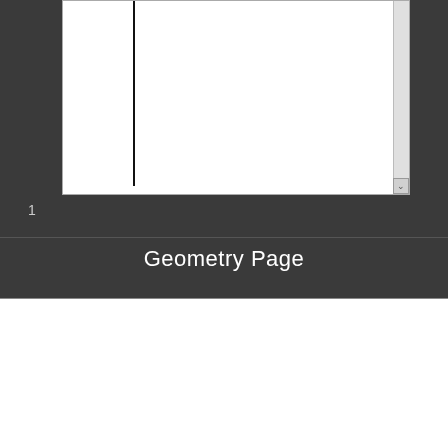[Figure (screenshot): Top portion of a document page showing a white page with a vertical black line, and a scrollbar on the right, on a dark grey background]
1
Geometry Page
[Figure (screenshot): Bottom portion showing a white page with red 'Geometry Page' text label, a selection handle green dot, dashed selection border, a TI-Nspire-style toolbar with tabs 1.1 1.2 1.3, DEG indicator, green battery icon, red X, and a white workspace with '1 cm' label]